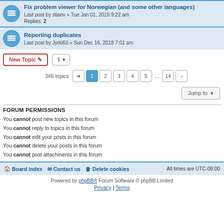Fix problem viewer for Norwegian (and some other languages)
Last post by stianv « Tue Jan 01, 2019 9:22 am
Replies: 2
Reporting duplicates
Last post by Jyrki63 « Sun Dec 16, 2018 7:01 am
346 topics  1 2 3 4 5 ... 14
Jump to
FORUM PERMISSIONS
You cannot post new topics in this forum
You cannot reply to topics in this forum
You cannot edit your posts in this forum
You cannot delete your posts in this forum
You cannot post attachments in this forum
Board index  Contact us  Delete cookies  All times are UTC-08:00
Powered by phpBB® Forum Software © phpBB Limited
Privacy | Terms